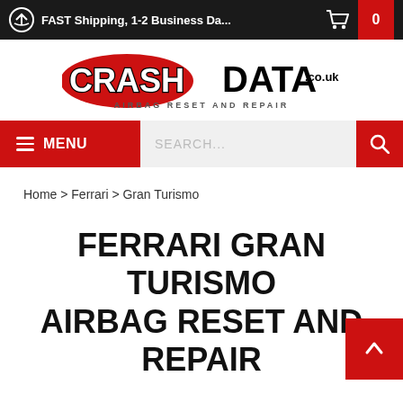FAST Shipping, 1-2 Business Da...
[Figure (logo): CrashData.co.uk logo with text AIRBAG RESET AND REPAIR]
MENU  SEARCH...
Home > Ferrari > Gran Turismo
FERRARI GRAN TURISMO AIRBAG RESET AND REPAIR